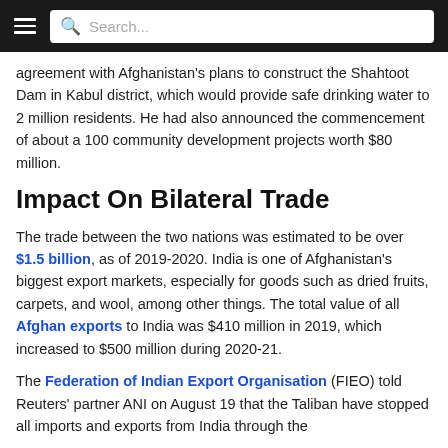Search...
agreement with Afghanistan's plans to construct the Shahtoot Dam in Kabul district, which would provide safe drinking water to 2 million residents. He had also announced the commencement of about a 100 community development projects worth $80 million.
Impact On Bilateral Trade
The trade between the two nations was estimated to be over $1.5 billion, as of 2019-2020. India is one of Afghanistan's biggest export markets, especially for goods such as dried fruits, carpets, and wool, among other things. The total value of all Afghan exports to India was $410 million in 2019, which increased to $500 million during 2020-21.
The Federation of Indian Export Organisation (FIEO) told Reuters' partner ANI on August 19 that the Taliban have stopped all imports and exports from India through the